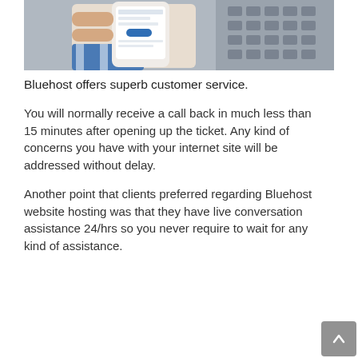[Figure (photo): A hand holding a smartphone displaying a website, with a laptop keyboard visible in the background.]
Bluehost offers superb customer service.
You will normally receive a call back in much less than 15 minutes after opening up the ticket. Any kind of concerns you have with your internet site will be addressed without delay.
Another point that clients preferred regarding Bluehost website hosting was that they have live conversation assistance 24/hrs so you never require to wait for any kind of assistance.